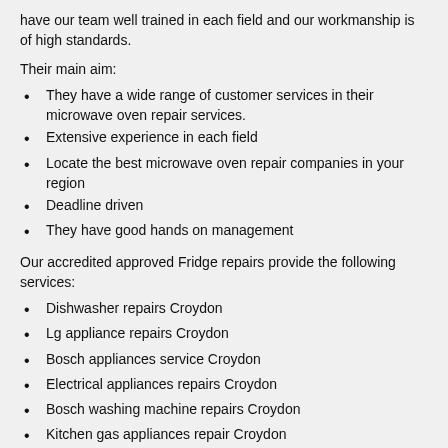have our team well trained in each field and our workmanship is of high standards.
Their main aim:
They have a wide range of customer services in their microwave oven repair services.
Extensive experience in each field
Locate the best microwave oven repair companies in your region
Deadline driven
They have good hands on management
Our accredited approved Fridge repairs provide the following services:
Dishwasher repairs Croydon
Lg appliance repairs Croydon
Bosch appliances service Croydon
Electrical appliances repairs Croydon
Bosch washing machine repairs Croydon
Kitchen gas appliances repair Croydon
Washing machine repairs Croydon
Freezer repair Croydon
Refrigerator repairs Croydon
Appliance installer Croydon
Ge appliances repairs Croydon
Washer repair Croydon
Vacuum cleaner repair Croydon
Small electric appliance repair Croydon